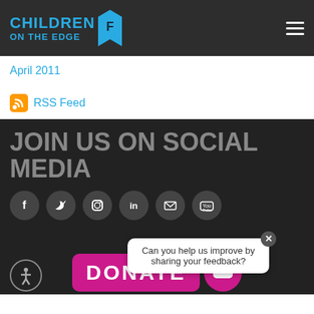CHILDREN ON THE EDGE
April 2011
RSS Feed
JOIN US ON SOCIAL MEDIA
[Figure (infographic): Social media icons: Facebook, Twitter, Instagram, LinkedIn, Email, YouTube]
[Figure (infographic): DONATE button in magenta with feedback popup: 'Can you help us improve by sharing your feedback?' and close button X, plus chat icon]